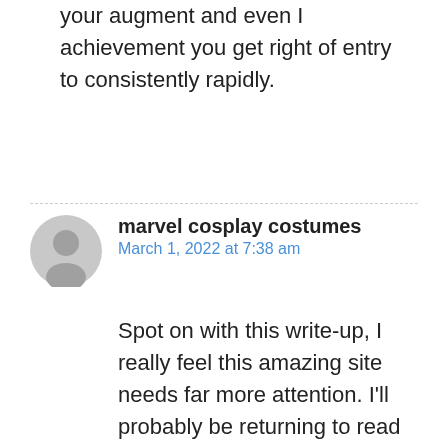your augment and even I achievement you get right of entry to consistently rapidly.
marvel cosplay costumes
March 1, 2022 at 7:38 am

Spot on with this write-up, I really feel this amazing site needs far more attention. I'll probably be returning to read more, thanks for the information!